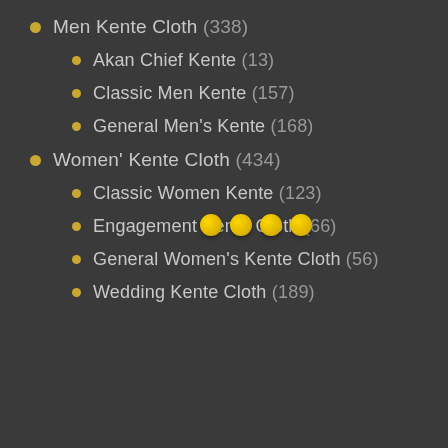Men Kente Cloth (338)
Akan Chief Kente (13)
Classic Men Kente (157)
General Men's Kente (168)
Women' Kente Cloth (434)
Classic Women Kente (123)
Engagement Kente Cloth (66)
General Women's Kente Cloth (56)
Wedding Kente Cloth (189)